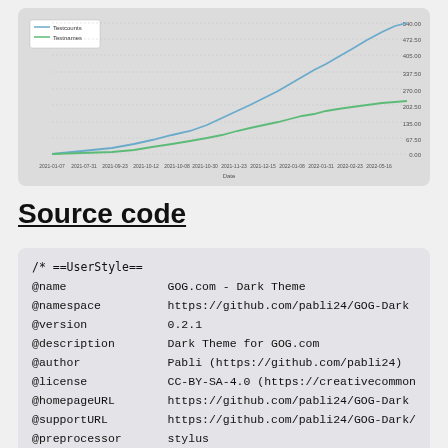[Figure (line-chart): Two cumulative line chart series (Testcounts blue, Testnames green) from 2021-01-07 to 2022-05-16, y-axis from 0.00 to 540.00]
Source code
/* ==UserStyle==
@name           GOG.com - Dark Theme
@namespace      https://github.com/pabli24/GOG-Dark
@version        0.2.1
@description    Dark Theme for GOG.com
@author         Pabli (https://github.com/pabli24)
@license        CC-BY-SA-4.0 (https://creativecommon
@homepageURL    https://github.com/pabli24/GOG-Dark
@supportURL     https://github.com/pabli24/GOG-Dark/
@preprocessor   stylus